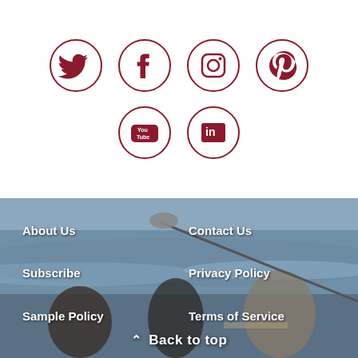[Figure (illustration): Six social media icon circles in dark red/crimson on white background: Twitter, Facebook, Instagram, Pinterest (top row), YouTube, LinkedIn (bottom row)]
[Figure (photo): Background photo of women sitting at a beach dining table with a microphone boom visible, ocean waves in background]
About Us
Contact Us
Subscribe
Privacy Policy
Sample Policy
Terms of Service
Back to top